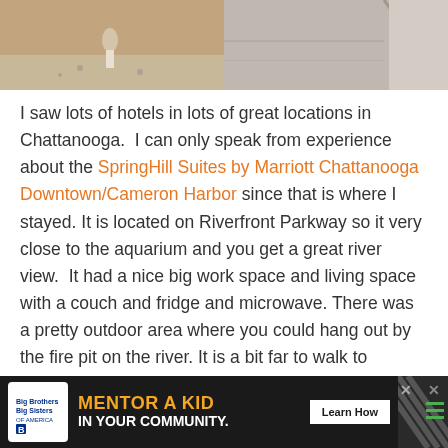[Figure (photo): Two photos side by side: left shows a person on a path/outdoor setting, right shows a road or pathway surface.]
I saw lots of hotels in lots of great locations in Chattanooga. I can only speak from experience about the SpringHill Suites by Marriott Chattanooga Downtown/Cameron Harbor since that is where I stayed. It is located on Riverfront Parkway so it very close to the aquarium and you get a great river view. It had a nice big work space and living space with a couch and fridge and microwave. There was a pretty outdoor area where you could hang out by the fire pit on the river. It is a bit far to walk to everything (doable but not with a bunch of kids) but they do have a bike share program location right in front of the hotel if you want to enjoy a bike ride to the
[Figure (other): Advertisement banner: Big Brothers Big Sisters - MENTOR A KID IN YOUR COMMUNITY. Learn How button with diagonal stripe pattern and X close buttons.]